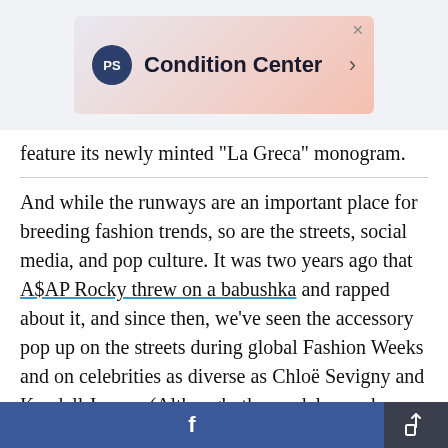[Figure (screenshot): Advertisement banner for 'Condition Center' with a PS logo circle, gradient background (light blue to pink), and a right arrow. An X close button is visible in the top right corner.]
feature its newly minted "La Greca" monogram.
And while the runways are an important place for breeding fashion trends, so are the streets, social media, and pop culture. It was two years ago that A$AP Rocky threw on a babushka and rapped about it, and since then, we've seen the accessory pop up on the streets during global Fashion Weeks and on celebrities as diverse as Chloë Sevigny and Kendall Jenner. (Although, the model wore hers more in the style of Grace Kelly than a Slavic
[Figure (screenshot): Bottom navigation toolbar with a Facebook share button (blue, with 'f' icon) on the left and a share/export button (dark gray, with arrow-from-box icon) on the right.]